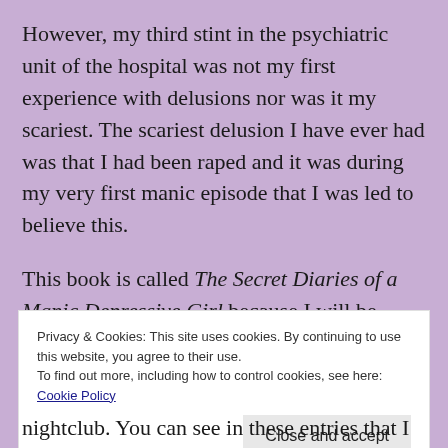However, my third stint in the psychiatric unit of the hospital was not my first experience with delusions nor was it my scariest. The scariest delusion I have ever had was that I had been raped and it was during my very first manic episode that I was led to believe this.
This book is called The Secret Diaries of a Manic Depressive Girl because I will be including images of diary entries from my actual diary
Privacy & Cookies: This site uses cookies. By continuing to use this website, you agree to their use.
To find out more, including how to control cookies, see here: Cookie Policy
Close and accept
nightclub. You can see in these entries that I